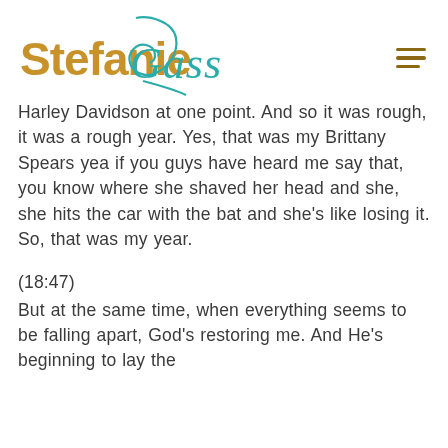Stefanie Gass [logo]
Harley Davidson at one point. And so it was rough, it was a rough year. Yes, that was my Brittany Spears yea if you guys have heard me say that, you know where she shaved her head and she, she hits the car with the bat and she's like losing it. So, that was my year.
(18:47)
But at the same time, when everything seems to be falling apart, God's restoring me. And He's beginning to lay the foundations for where I'm sitting right now.